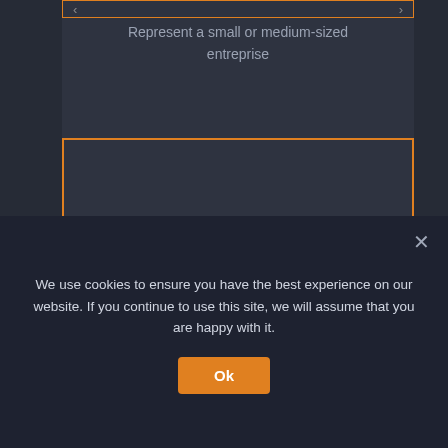Represent a small or medium-sized entreprise
[Figure (infographic): Orange-bordered box displaying the number 17 in large white bold text]
Media organisations cover the event
[Figure (infographic): Partially visible orange-bordered box at bottom of page]
We use cookies to ensure you have the best experience on our website. If you continue to use this site, we will assume that you are happy with it.